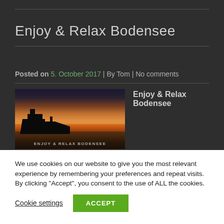Enjoy & Relax Bodensee
Posted on 5. October 2017 | By Tom | No comments
[Figure (photo): Sunset photo over Lake Constance (Bodensee) with industrial silhouette and orange sky reflected in water, watermark text ENJOY & RELAX BODENSEE at bottom]
Enjoy & Relax Bodensee
We use cookies on our website to give you the most relevant experience by remembering your preferences and repeat visits. By clicking “Accept”, you consent to the use of ALL the cookies.
Cookie settings  ACCEPT